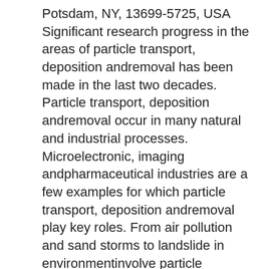Potsdam, NY, 13699-5725, USA Significant research progress in the areas of particle transport, deposition andremoval has been made in the last two decades. Particle transport, deposition andremoval occur in many natural and industrial processes. Microelectronic, imaging andpharmaceutical industries are a few examples for which particle transport, deposition andremoval play key roles. From air pollution and sand storms to landslide in environmentinvolve particle transport, deposition and removal. A series of courses were developed tomake the new important research findings available to seniors and first year graduatestudents in engineering departments through specialized curricula. This course seriesinvolved an integration of numerical simulations and experiments in the